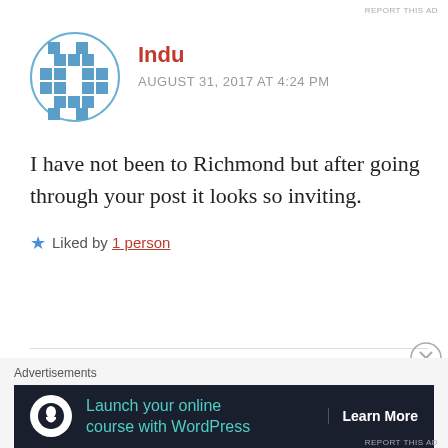REPORT THIS AD
[Figure (illustration): Blue pixelated/mosaic circular avatar icon for user Indu]
Indu
AUGUST 31, 2017 AT 4:24 PM
I have not been to Richmond but after going through your post it looks so inviting.
Liked by 1 person
[Figure (photo): Circular profile photo of Lyf&Spice showing an ancient temple/ruins scene]
Lyf&Spice
AUGUST 31, 2017 AT 4:14 PM
Advertisements
[Figure (screenshot): Dark advertisement banner: Launch your online course with WordPress - Learn More button]